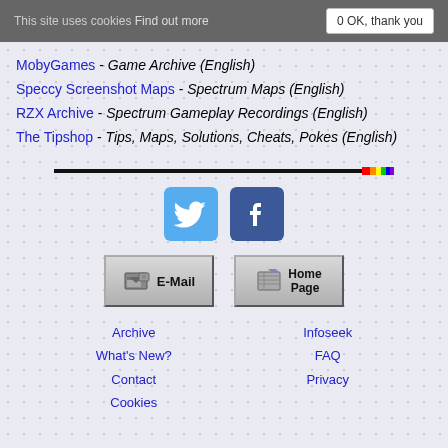This site uses cookies Find out more  0 OK, thank you
MobyGames - Game Archive (English)
Speccy Screenshot Maps - Spectrum Maps (English)
RZX Archive - Spectrum Gameplay Recordings (English)
The Tipshop - Tips, Maps, Solutions, Cheats, Pokes (English)
[Figure (illustration): Horizontal rainbow divider line, black with rainbow color at right end]
[Figure (illustration): Twitter bird icon (blue square) and Facebook f icon (dark blue square)]
[Figure (illustration): E-Mail retro button with mailbox icon and Home Page retro button with newspaper icon]
Archive  What's New?  Contact  Cookies  Infoseek  FAQ  Privacy